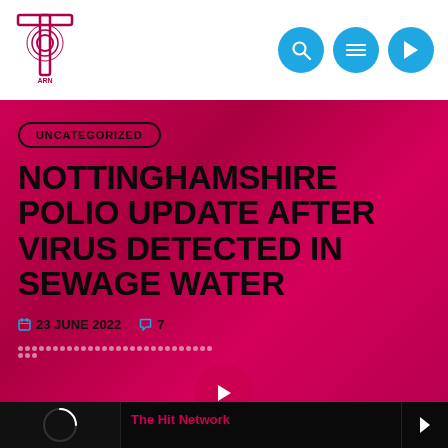The Hit Network — navigation header with logo and nav buttons
UNCATEGORIZED
NOTTINGHAMSHIRE POLIO UPDATE AFTER VIRUS DETECTED IN SEWAGE WATER
23 JUNE 2022   7
The Hit Network